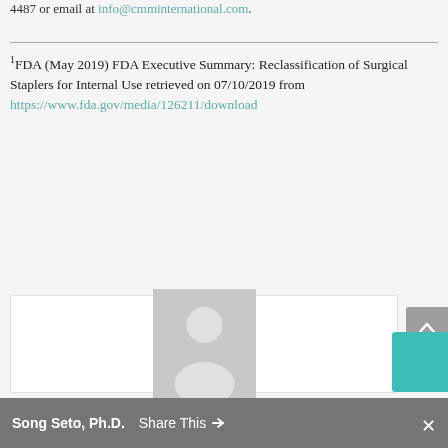4487 or email at info@cmminternational.com.
1FDA (May 2019) FDA Executive Summary: Reclassification of Surgical Staplers for Internal Use retrieved on 07/10/2019 from https://www.fda.gov/media/126211/download
[Figure (photo): Generic avatar/profile placeholder image showing a silhouette of a person on a grey background]
Song Seto, Ph.D.  Share This  ×